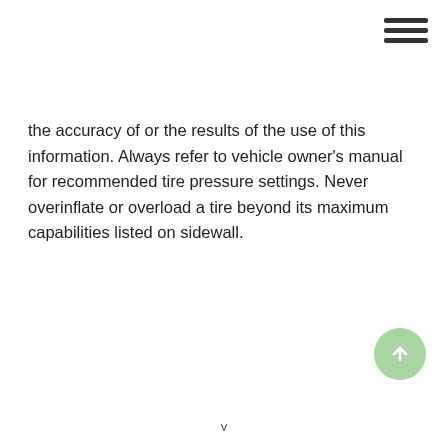the accuracy of or the results of the use of this information. Always refer to vehicle owner's manual for recommended tire pressure settings. Never overinflate or overload a tire beyond its maximum capabilities listed on sidewall.